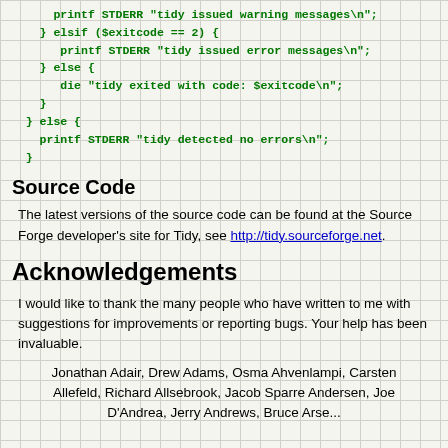printf STDERR "tidy issued warning messages\n";
    } elsif ($exitcode == 2) {
       printf STDERR "tidy issued error messages\n";
    } else {
       die "tidy exited with code: $exitcode\n";
    }
  } else {
    printf STDERR "tidy detected no errors\n";
  }
Source Code
The latest versions of the source code can be found at the Source Forge developer's site for Tidy, see http://tidy.sourceforge.net.
Acknowledgements
I would like to thank the many people who have written to me with suggestions for improvements or reporting bugs. Your help has been invaluable.
Jonathan Adair, Drew Adams, Osma Ahvenlampi, Carsten Allefeld, Richard Allsebrook, Jacob Sparre Andersen, Joe D'Andrea, Jerry Andrews, Bruce Arse...